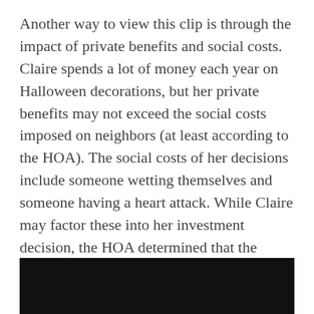Another way to view this clip is through the impact of private benefits and social costs. Claire spends a lot of money each year on Halloween decorations, but her private benefits may not exceed the social costs imposed on neighbors (at least according to the HOA). The social costs of her decisions include someone wetting themselves and someone having a heart attack. While Claire may factor these into her investment decision, the HOA determined that the social costs outweigh the social benefits and has opted for a command-and-control approach to Halloween decorations at the Dunphy house.
[Figure (photo): A dark/black image strip at the bottom of the page, appearing to be a video still or photograph with very low exposure.]